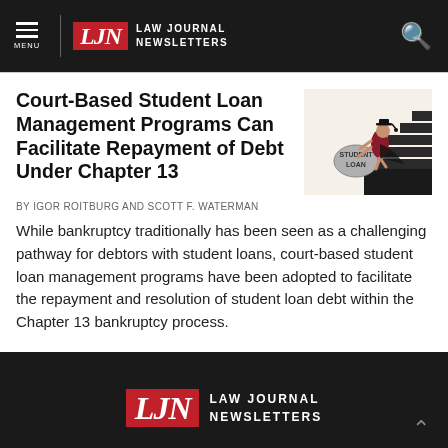Law Journal Newsletters
Court-Based Student Loan Management Programs Can Facilitate Repayment of Debt Under Chapter 13
[Figure (illustration): Illustration of a graduate in cap and gown carrying a boulder labeled 'STUDENT LOAN' up a staircase]
BY IGOR ROITBURG AND SCOTT F. WATERMAN
While bankruptcy traditionally has been seen as a challenging pathway for debtors with student loans, court-based student loan management programs have been adopted to facilitate the repayment and resolution of student loan debt within the Chapter 13 bankruptcy process.
Law Journal Newsletters